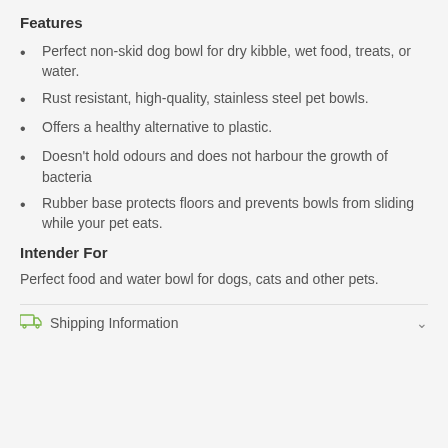Features
Perfect non-skid dog bowl for dry kibble, wet food, treats, or water.
Rust resistant, high-quality, stainless steel pet bowls.
Offers a healthy alternative to plastic.
Doesn't hold odours and does not harbour the growth of bacteria
Rubber base protects floors and prevents bowls from sliding while your pet eats.
Intender For
Perfect food and water bowl for dogs, cats and other pets.
Shipping Information